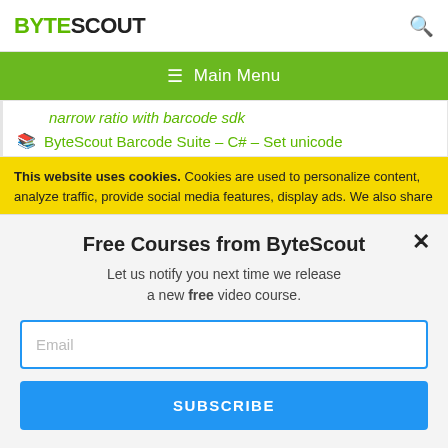BYTESCOUT
≡  Main Menu
narrow ratio with barcode sdk
ByteScout Barcode Suite – C# – Set unicode
This website uses cookies. Cookies are used to personalize content, analyze traffic, provide social media features, display ads. We also share
Free Courses from ByteScout
Let us notify you next time we release a new free video course.
Email
SUBSCRIBE